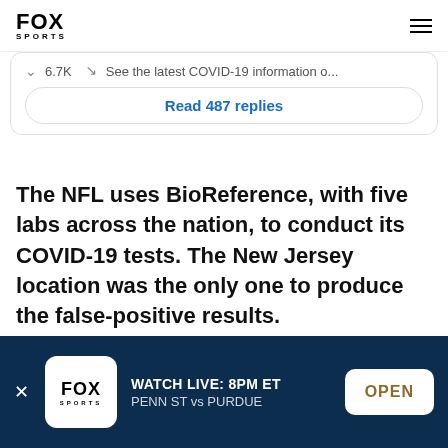FOX SPORTS
[Figure (screenshot): Partial tweet card showing 6.7K count, arrow icon, and text 'See the latest COVID-19 information o...' with a 'Read 487 replies' button]
The NFL uses BioReference, with five labs across the nation, to conduct its COVID-19 tests. The New Jersey location was the only one to produce the false-positive results.
[Figure (infographic): Fox Sports app download banner: WATCH LIVE: 8PM ET PENN ST vs PURDUE with OPEN button]